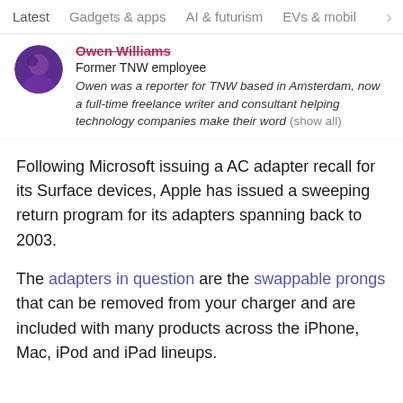Latest   Gadgets & apps   AI & futurism   EVs & mobil  >
Owen Williams
Former TNW employee
Owen was a reporter for TNW based in Amsterdam, now a full-time freelance writer and consultant helping technology companies make their word (show all)
Following Microsoft issuing a AC adapter recall for its Surface devices, Apple has issued a sweeping return program for its adapters spanning back to 2003.
The adapters in question are the swappable prongs that can be removed from your charger and are included with many products across the iPhone, Mac, iPod and iPad lineups.